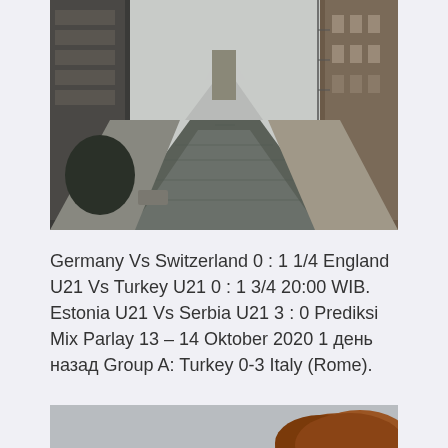[Figure (photo): A narrow urban street lined with tall brick and stone buildings, with a cobblestone pavement receding into the distance. The perspective creates a vanishing point effect. Trees and parked cars visible along the sides.]
Germany Vs Switzerland 0 : 1 1/4 England U21 Vs Turkey U21 0 : 1 3/4 20:00 WIB. Estonia U21 Vs Serbia U21 3 : 0 Prediksi Mix Parlay 13 – 14 Oktober 2020 1 день назад Group A: Turkey 0-3 Italy (Rome).
[Figure (photo): Partial view of an outdoor scene with a tree with orange/brown foliage against a grey sky, cropped at bottom of page.]